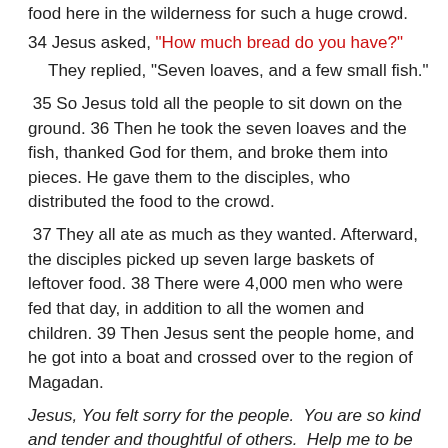food here in the wilderness for such a huge crowd.
34 Jesus asked, “How much bread do you have?”
They replied, “Seven loaves, and a few small fish.”
35 So Jesus told all the people to sit down on the ground. 36 Then he took the seven loaves and the fish, thanked God for them, and broke them into pieces. He gave them to the disciples, who distributed the food to the crowd.
37 They all ate as much as they wanted. Afterward, the disciples picked up seven large baskets of leftover food. 38 There were 4,000 men who were fed that day, in addition to all the women and children. 39 Then Jesus sent the people home, and he got into a boat and crossed over to the region of Magadan.
Jesus, You felt sorry for the people.  You are so kind and tender and thoughtful of others.  Help me to be so kind.  And I know You are telling me to feed the hungry.  Even in